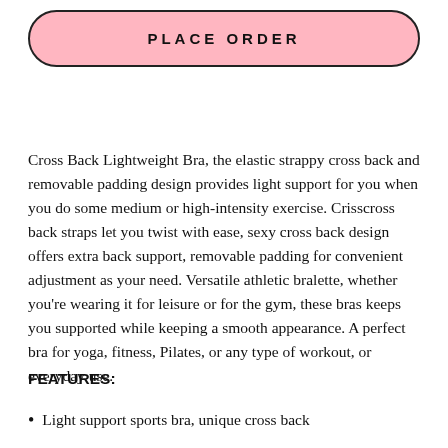[Figure (other): Pink rounded button with text PLACE ORDER]
Cross Back Lightweight Bra, the elastic strappy cross back and removable padding design provides light support for you when you do some medium or high-intensity exercise. Crisscross back straps let you twist with ease, sexy cross back design offers extra back support, removable padding for convenient adjustment as your need. Versatile athletic bralette, whether you're wearing it for leisure or for the gym, these bras keeps you supported while keeping a smooth appearance. A perfect bra for yoga, fitness, Pilates, or any type of workout, or everyday use.
FEATURES:
Light support sports bra, unique cross back